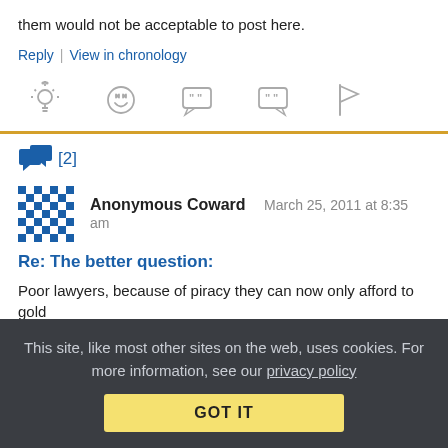them would not be acceptable to post here.
Reply | View in chronology
[Figure (infographic): Row of 5 comment action icons: lightbulb, laughing emoji, open-quote speech bubble, close-quote speech bubble, flag]
[2]
Anonymous Coward   March 25, 2011 at 8:35 am
Re: The better question:
Poor lawyers, because of piracy they can now only afford to gold
This site, like most other sites on the web, uses cookies. For more information, see our privacy policy
GOT IT